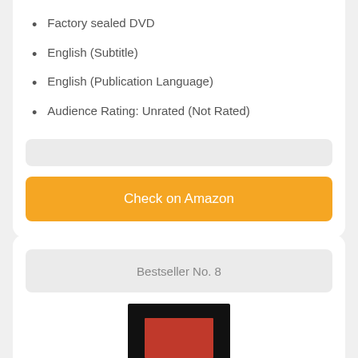Factory sealed DVD
English (Subtitle)
English (Publication Language)
Audience Rating: Unrated (Not Rated)
Check on Amazon
Bestseller No. 8
[Figure (photo): Book or DVD cover image with dark background and red central element]